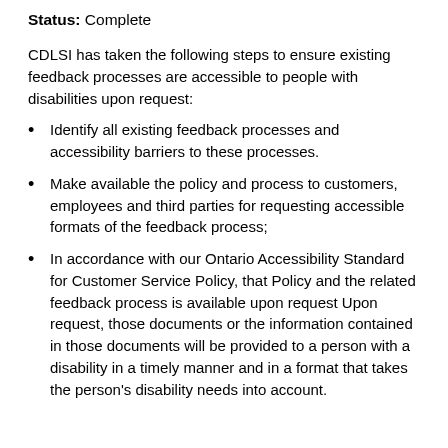Status: Complete
CDLSI has taken the following steps to ensure existing feedback processes are accessible to people with disabilities upon request:
Identify all existing feedback processes and accessibility barriers to these processes.
Make available the policy and process to customers, employees and third parties for requesting accessible formats of the feedback process;
In accordance with our Ontario Accessibility Standard for Customer Service Policy, that Policy and the related feedback process is available upon request Upon request, those documents or the information contained in those documents will be provided to a person with a disability in a timely manner and in a format that takes the person’s disability needs into account.